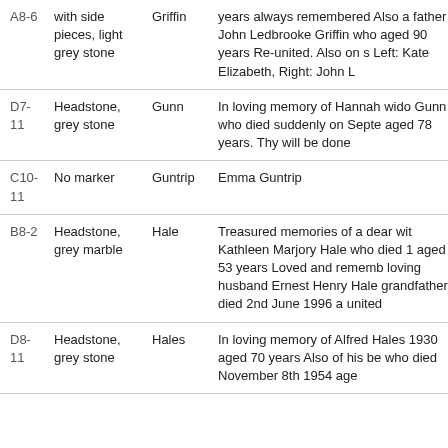| Plot | Description | Name | Inscription |
| --- | --- | --- | --- |
| A8-6 | with side pieces, light grey stone | Griffin | years always remembered Also a father John Ledbrooke Griffin who aged 90 years Re-united. Also on s Left: Kate Elizabeth, Right: John L |
| D7-11 | Headstone, grey stone | Gunn | In loving memory of Hannah wido Gunn who died suddenly on Septe aged 78 years. Thy will be done |
| C10-11 | No marker | Guntrip | Emma Guntrip |
| B8-2 | Headstone, grey marble | Hale | Treasured memories of a dear wit Kathleen Marjory Hale who died 1 aged 53 years Loved and rememb loving husband Ernest Henry Hale grandfather died 2nd June 1996 a united |
| D8-11 | Headstone, grey stone | Hales | In loving memory of Alfred Hales 1930 aged 70 years Also of his be who died November 8th 1954 age |